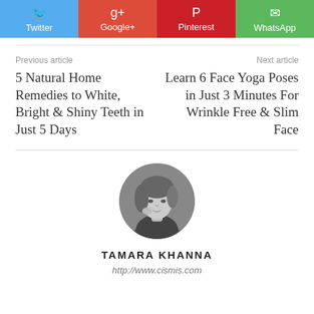[Figure (other): Social media share buttons: Twitter (blue), Google+ (red-orange), Pinterest (dark red), WhatsApp (green), each with icon and label]
Previous article
Next article
5 Natural Home Remedies to White, Bright & Shiny Teeth in Just 5 Days
Learn 6 Face Yoga Poses in Just 3 Minutes For Wrinkle Free & Slim Face
[Figure (photo): Black and white circular portrait photo of Tamara Khanna]
TAMARA KHANNA
http://www.cismis.com